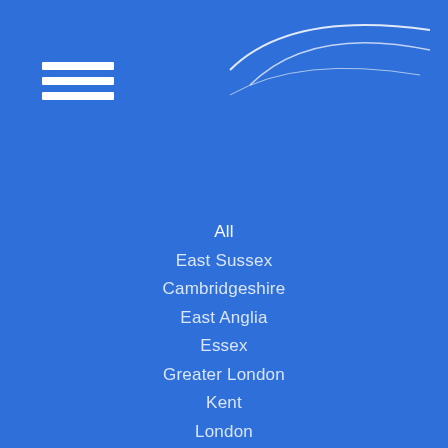[Figure (logo): GPS Business Sales logo with curved swoosh lines and text 'Business Sales' and 'gps' on blue background]
All
East Sussex
Cambridgeshire
East Anglia
Essex
Greater London
Kent
London
Norfolk
South East England
Suffolk
Surrey
West Sussex
Online
Hertfordshire
Nationwide
Undisclosed
Devon